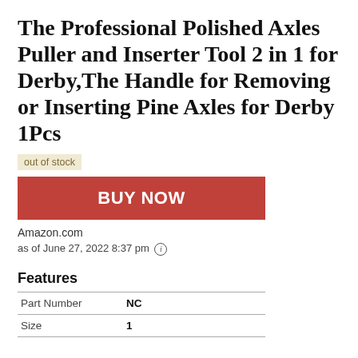The Professional Polished Axles Puller and Inserter Tool 2 in 1 for Derby,The Handle for Removing or Inserting Pine Axles for Derby 1Pcs
out of stock
[Figure (other): Red BUY NOW button]
Amazon.com
as of June 27, 2022 8:37 pm ⓘ
Features
| Part Number | NC |
| Size | 1 |